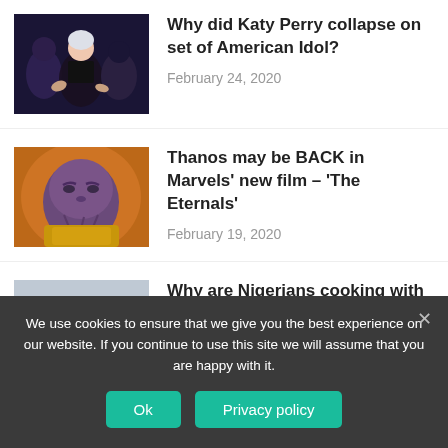[Figure (photo): Katy Perry and others on stage, colorful outfits]
Why did Katy Perry collapse on set of American Idol?
February 24, 2020
[Figure (photo): Thanos character from Marvel in purple/blue armor]
Thanos may be BACK in Marvels' new film – 'The Eternals'
February 19, 2020
[Figure (photo): Raw meat on a cutting board, cooking scene]
Why are Nigerians cooking with paracetamol?
February 14, 2020
We use cookies to ensure that we give you the best experience on our website. If you continue to use this site we will assume that you are happy with it.